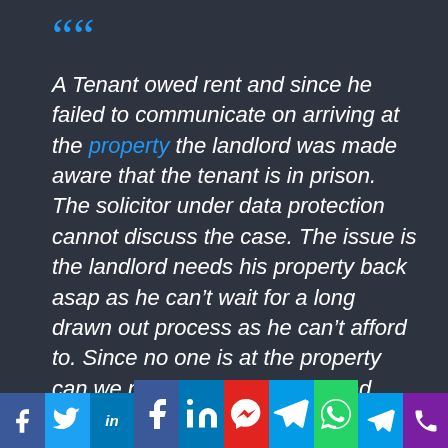““
A Tenant owed rent and since he failed to communicate on arriving at the property the landlord was made aware that the tenant is in prison. The solicitor under data protection cannot discuss the case. The issue is the landlord needs his property back asap as he can’t wait for a long drawn out process as he can’t afford to. Since no one is at the property can we not treat it as abandoned property and take the property back .